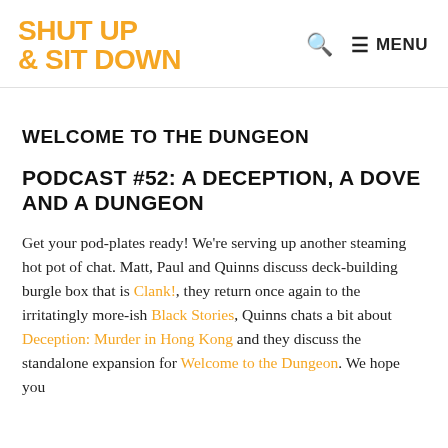SHUT UP & SIT DOWN
WELCOME TO THE DUNGEON
PODCAST #52: A DECEPTION, A DOVE AND A DUNGEON
Get your pod-plates ready! We're serving up another steaming hot pot of chat. Matt, Paul and Quinns discuss deck-building burgle box that is Clank!, they return once again to the irritatingly more-ish Black Stories, Quinns chats a bit about Deception: Murder in Hong Kong and they discuss the standalone expansion for Welcome to the Dungeon. We hope you